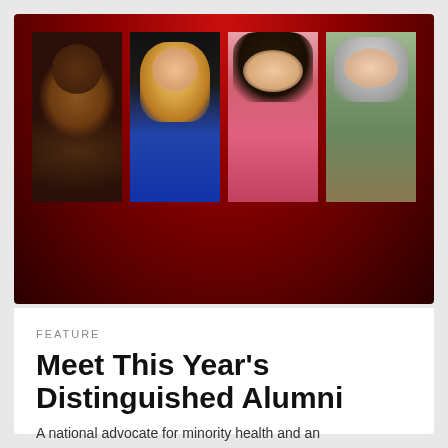[Figure (photo): Four portrait photos of distinguished alumni arranged in a row on a dark red banner background. From left to right: an African American man in a suit, a blonde woman in a blue jacket, an Asian woman in a pink top, and an older woman with gray hair.]
FEATURE
Meet This Year's Distinguished Alumni
A national advocate for minority health and an